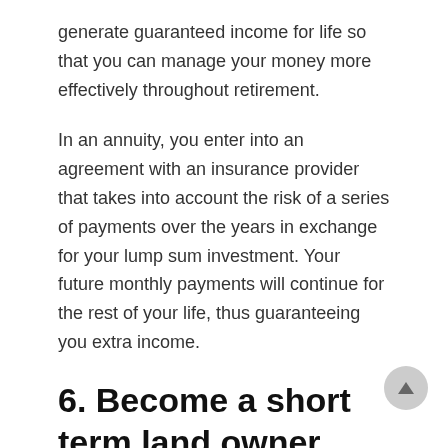generate guaranteed income for life so that you can manage your money more effectively throughout retirement.
In an annuity, you enter into an agreement with an insurance provider that takes into account the risk of a series of payments over the years in exchange for your lump sum investment. Your future monthly payments will continue for the rest of your life, thus guaranteeing you extra income.
6. Become a short term land owner
You do not want to be frustrated if you cannot get the right pitch so invest in a good capo. Still, services like Airbnb have created a whole new market full of